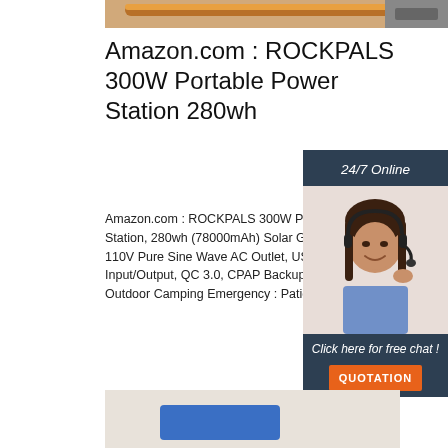[Figure (photo): Top partial image showing orange/copper colored cable or hose with metal fittings on grey background]
Amazon.com : ROCKPALS 300W Portable Power Station 280wh
Amazon.com : ROCKPALS 300W Portable Power Station, 280wh (78000mAh) Solar Generator, 110V Pure Sine Wave AC Outlet, USB-C PD Input/Output, QC 3.0, CPAP Backup Lithium for Outdoor Camping Emergency : Patio, La... Garden
[Figure (photo): Customer support representative with headset smiling, shown against sidebar with 24/7 Online text and Click here for free chat button]
[Figure (photo): Bottom partial image showing blue rectangular object on light grey/beige background]